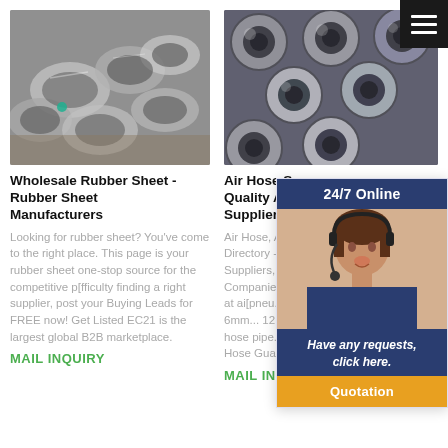[Figure (photo): Pile of metallic/steel tubes or pipes seen from an angle]
[Figure (photo): Front view of round metallic/steel tubes arranged in a grid]
Wholesale Rubber Sheet - Rubber Sheet Manufacturers
Air Hose Sup... Quality Air H... Suppliers on...
Looking for rubber sheet? You've come to the right place. This page is your rubber sheet one-stop source for the competitive p[fficulty finding a right supplier, post your Buying Leads for FREE now! Get Listed EC21 is the largest global B2B marketplace.
Air Hose, Air Hos... Directory - Find w... Suppliers, Manu... Companies from... World at ai[pneu... hose. 4mm 6mm... 12mm colored p... hose pipe. Coun... Spiral Hose Gua...
MAIL INQUIRY
MAIL INQUIRY
[Figure (screenshot): 24/7 Online chat widget with customer service photo, 'Have any requests, click here.' message and Quotation button]